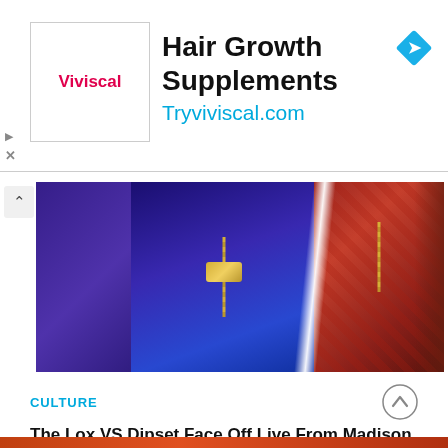[Figure (other): Advertisement banner for Viviscal hair growth supplements showing logo, headline 'Hair Growth Supplements', URL 'Tryviviscal.com', and a blue diamond navigation icon]
[Figure (photo): Composite photo showing two rap performers on stage: left side shows a performer in blue outfit with gold chains performing under purple/blue stage lighting; right side shows a performer in red Louis Vuitton patterned shirt with gold chains and American flag belt buckle]
CULTURE
The Lox VS Dipset Face Off Live From Madison Square Garden, New York–Verzuz TV